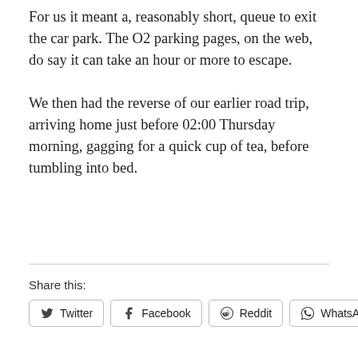For us it meant a, reasonably short, queue to exit the car park. The O2 parking pages, on the web, do say it can take an hour or more to escape.
We then had the reverse of our earlier road trip, arriving home just before 02:00 Thursday morning, gagging for a quick cup of tea, before tumbling into bed.
Share this:
Twitter | Facebook | Reddit | WhatsApp